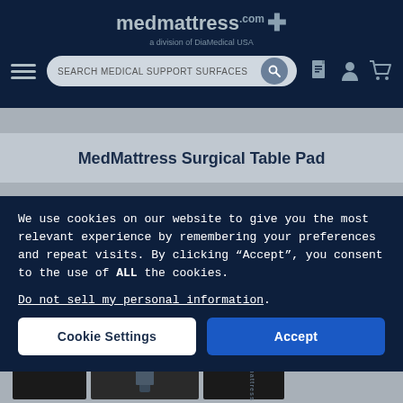[Figure (screenshot): MedMattress.com website header with logo, navigation search bar, and icons on dark navy background]
MedMattress Surgical Table Pad
We use cookies on our website to give you the most relevant experience by remembering your preferences and repeat visits. By clicking “Accept”, you consent to the use of ALL the cookies.
Do not sell my personal information.
Cookie Settings
Accept
[Figure (screenshot): Bottom thumbnail strip showing dark product images of MedMattress surgical table pads]